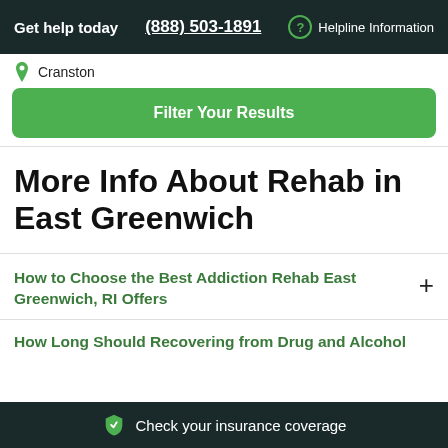Get help today  (888) 503-1891  ? Helpline Information
Cranston
Filter Your Results
More Info About Rehab in East Greenwich
How to Choose the Best Addiction Rehab East Greenwich, RI Offers
How Long Should Recovering from Drug and Alcohol
Check your insurance coverage